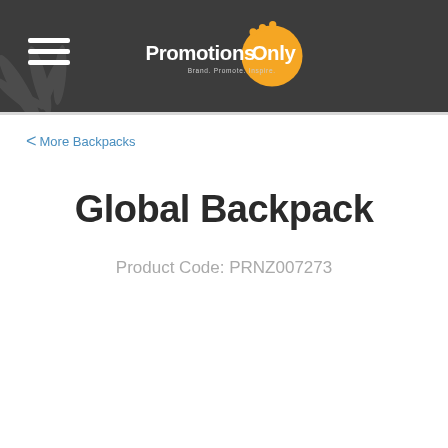PromotionsOnly — Brand. Promote. Inspire.
< More Backpacks
Global Backpack
Product Code: PRNZ007273